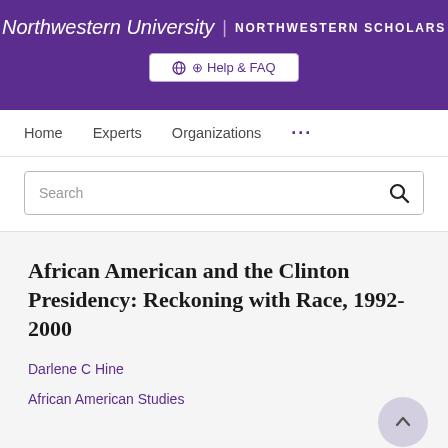Northwestern University | NORTHWESTERN SCHOLARS
Help & FAQ
Home   Experts   Organizations   ...
Search
African American and the Clinton Presidency: Reckoning with Race, 1992-2000
Darlene C Hine
African American Studies